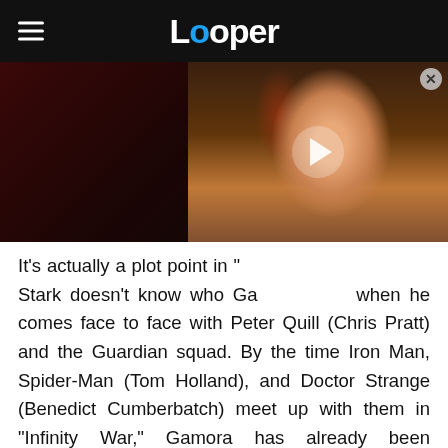Looper
[Figure (photo): Media player area showing a dark background on the left and a video thumbnail on the right featuring a woman with red/auburn hair (Tauriel from The Hobbit) with a play button overlay. A close (X) button appears in the top-right corner.]
It's actually a plot point in "[movie]" that Stark doesn't know who Gam[ora is] when he comes face to face with Peter Quill (Chris Pratt) and the Guardian squad. By the time Iron Man, Spider-Man (Tom Holland), and Doctor Strange (Benedict Cumberbatch) meet up with them in "Infinity War," Gamora has already been kidnapped by Thanos. She dies on Vormir shortly thereafter. It's actually pretty weird that they didn't meet each other in "Infinity War" as the two of them are kind